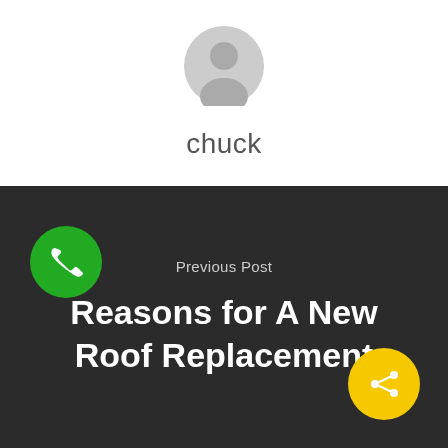[Figure (illustration): Gray user avatar icon (silhouette of a person) centered in white section]
chuck
[Figure (illustration): Green circular phone call button icon on the left side of the dark section]
Previous Post
Reasons for A New Roof Replacement
[Figure (illustration): Yellow circular share/network icon button at the bottom right of the dark section]